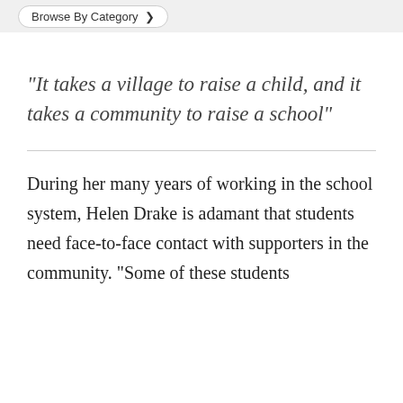Browse By Category
“It takes a village to raise a child, and it takes a community to raise a school”
During her many years of working in the school system, Helen Drake is adamant that students need face-to-face contact with supporters in the community. “Some of these students